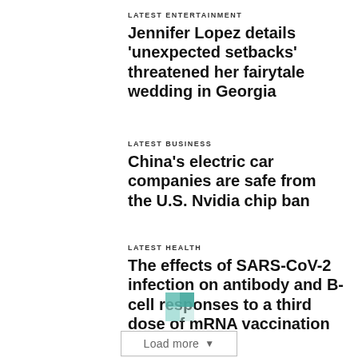LATEST ENTERTAINMENT
Jennifer Lopez details ‘unexpected setbacks’ threatened her fairytale wedding in Georgia
LATEST BUSINESS
China’s electric car companies are safe from the U.S. Nvidia chip ban
LATEST HEALTH
The effects of SARS-CoV-2 infection on antibody and B-cell responses to a third dose of mRNA vaccination
Load more